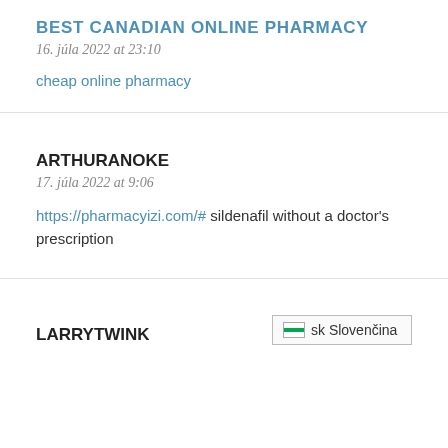BEST CANADIAN ONLINE PHARMACY
16. júla 2022 at 23:10
cheap online pharmacy
ARTHURANOKE
17. júla 2022 at 9:06
https://pharmacyizi.com/# sildenafil without a doctor's prescription
LARRYTWINK
[Figure (other): Slovak language flag icon with text 'sk Slovenčina']